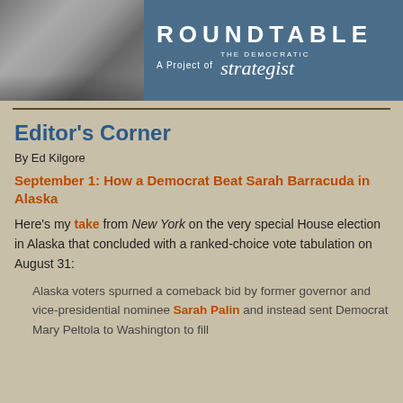[Figure (photo): Header banner with a photo of a kitchen worker on the left and a blue panel on the right reading ROUNDTABLE – A Project of THE DEMOCRATIC strategist]
Editor's Corner
By Ed Kilgore
September 1: How a Democrat Beat Sarah Barracuda in Alaska
Here's my take from New York on the very special House election in Alaska that concluded with a ranked-choice vote tabulation on August 31:
Alaska voters spurned a comeback bid by former governor and vice-presidential nominee Sarah Palin and instead sent Democrat Mary Peltola to Washington to fill